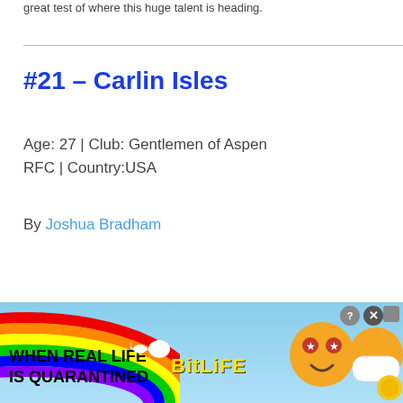great test of where this huge talent is heading.
#21 – Carlin Isles
Age: 27 | Club: Gentlemen of Aspen RFC | Country:USA
By Joshua Bradham
[Figure (illustration): BitLife advertisement banner with rainbow, sperm icon, emoji faces with stars, face mask and gold coins, text 'WHEN REAL LIFE IS QUARANTINED' and 'BitLife' logo in yellow]